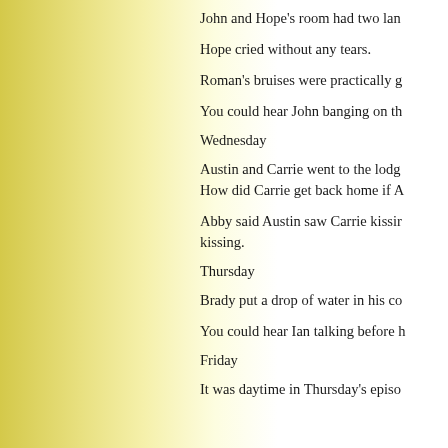John and Hope's room had two lan
Hope cried without any tears.
Roman's bruises were practically g
You could hear John banging on th
Wednesday
Austin and Carrie went to the lodg How did Carrie get back home if A
Abby said Austin saw Carrie kissir kissing.
Thursday
Brady put a drop of water in his co
You could hear Ian talking before h
Friday
It was daytime in Thursday's episo